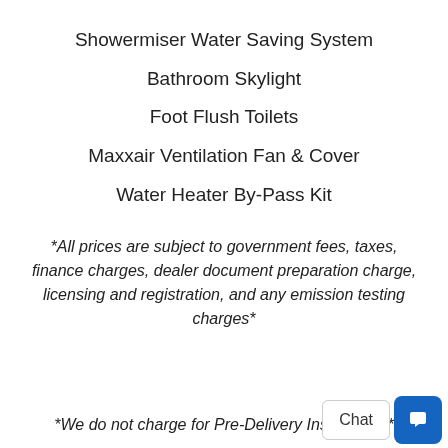Showermiser Water Saving System
Bathroom Skylight
Foot Flush Toilets
Maxxair Ventilation Fan & Cover
Water Heater By-Pass Kit
*All prices are subject to government fees, taxes, finance charges, dealer document preparation charge, licensing and registration, and any emission testing charges*
*We do not charge for Pre-Delivery Inspections*